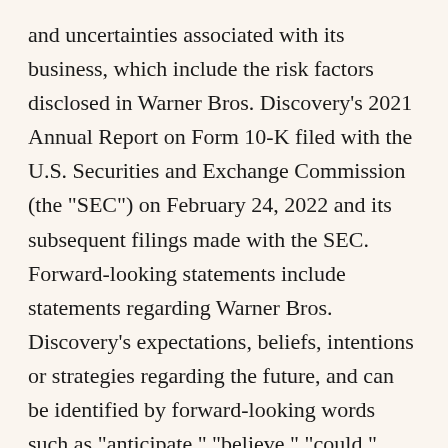and uncertainties associated with its business, which include the risk factors disclosed in Warner Bros. Discovery's 2021 Annual Report on Form 10-K filed with the U.S. Securities and Exchange Commission (the "SEC") on February 24, 2022 and its subsequent filings made with the SEC. Forward-looking statements include statements regarding Warner Bros. Discovery's expectations, beliefs, intentions or strategies regarding the future, and can be identified by forward-looking words such as "anticipate," "believe," "could," "continue," "estimate," "expect," "intend," "may," "should," "will" and "would" or similar words. Forward-looking statements include, without limitation, statements regarding future financial and operating results, Warner Bros. Discovery's plans, objectives, expectations and intentions, and other